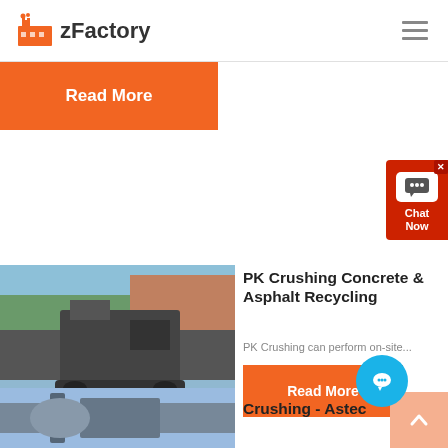zFactory
Read More
[Figure (screenshot): Chat Now widget with red background, chat bubble icon, and 'Chat Now' label in top-right corner]
[Figure (photo): Crushing machine working at a quarry/construction site with rocks and gravel in the foreground and trees/cliffs in the background]
PK Crushing Concrete & Asphalt Recycling
PK Crushing can perform on-site...
Read More
[Figure (photo): Partial view of another crushing/industrial machine photo at the bottom of the page]
Crushing - Astec
[Figure (screenshot): Chat bubble circle button (blue) and scroll-up arrow button (orange/peach)]